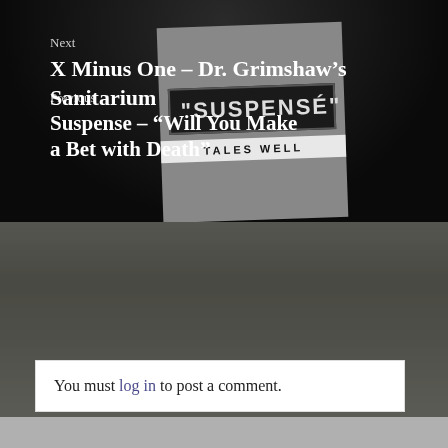[Figure (photo): Dark atmospheric background image showing suspense-themed imagery with a Suspense radio show cover art visible, labeled 'TALES WELL']
Previous
Suspense – “Will You Make a Bet with Death”
[Figure (photo): Black and white photograph of a multi-story brick building exterior, used as background for the Next navigation block]
Next
X Minus One – Dr. Grimshaw’s Sanitarium
You must log in to post a comment.